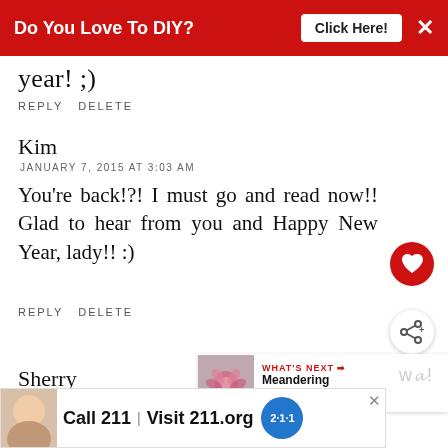[Figure (screenshot): Red banner ad at top: 'Do You Love To DIY? Click Here!' with close X button]
year! ;)
REPLY   DELETE
Kim
JANUARY 7, 2015 AT 3:03 AM
You're back!?! I must go and read now!! Glad to hear from you and Happy New Year, lady!! :)
REPLY   DELETE
Sherry
JANUARY 8, 2015 AT 4:49 AM
[Figure (screenshot): Bottom ad: Call 211 | Visit 211.org with 2-1-1 logo and child image]